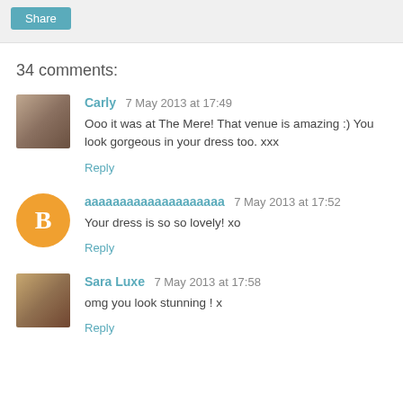Share
34 comments:
Carly 7 May 2013 at 17:49
Ooo it was at The Mere! That venue is amazing :) You look gorgeous in your dress too. xxx
Reply
aaaaaaaaaaaaaaaaaaaa 7 May 2013 at 17:52
Your dress is so so lovely! xo
Reply
Sara Luxe 7 May 2013 at 17:58
omg you look stunning ! x
Reply